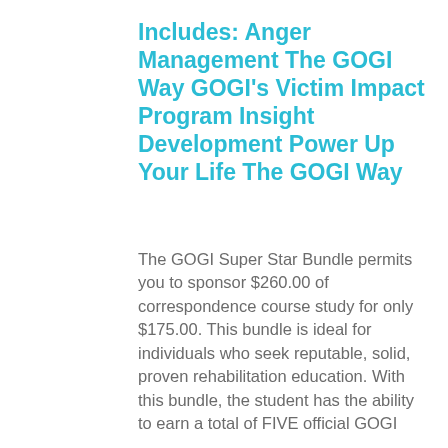Includes: Anger Management The GOGI Way GOGI's Victim Impact Program Insight Development Power Up Your Life The GOGI Way
The GOGI Super Star Bundle permits you to sponsor $260.00 of correspondence course study for only $175.00. This bundle is ideal for individuals who seek reputable, solid, proven rehabilitation education. With this bundle, the student has the ability to earn a total of FIVE official GOGI